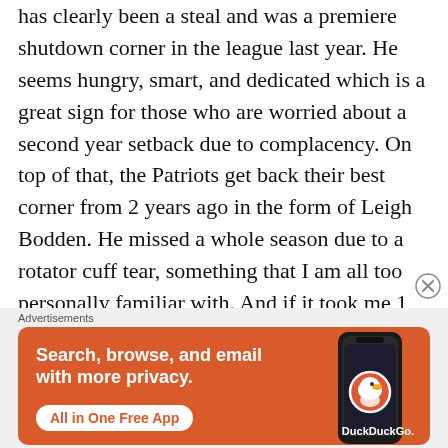has clearly been a steal and was a premiere shutdown corner in the league last year. He seems hungry, smart, and dedicated which is a great sign for those who are worried about a second year setback due to complacency. On top of that, the Patriots get back their best corner from 2 years ago in the form of Leigh Bodden. He missed a whole season due to a rotator cuff tear, something that I am all too personally familiar with. And if it took me 1 year to return to my NCAA athletic career, I'm sure Mr. Bodden will back in full force. The Patriots
[Figure (other): DuckDuckGo advertisement banner with orange background showing 'Search, browse, and email with more privacy. All in One Free App' text alongside a smartphone image with DuckDuckGo logo]